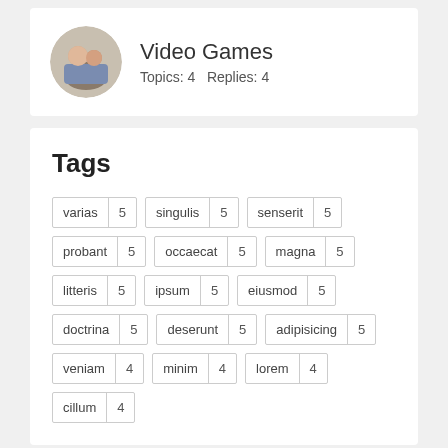[Figure (photo): Circular avatar photo of two people]
Video Games
Topics: 4   Replies: 4
Tags
varias 5
singulis 5
senserit 5
probant 5
occaecat 5
magna 5
litteris 5
ipsum 5
eiusmod 5
doctrina 5
deserunt 5
adipisicing 5
veniam 4
minim 4
lorem 4
cillum 4
Recent Posts